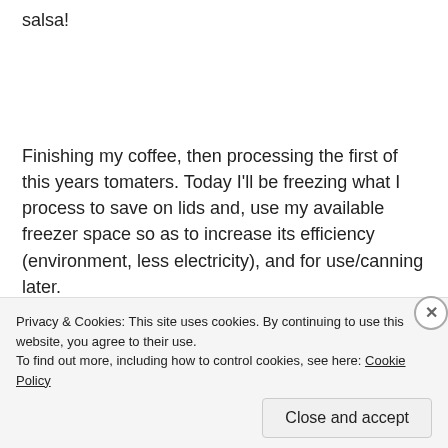salsa!
Finishing my coffee, then processing the first of this years tomaters. Today I'll be freezing what I process to save on lids and, use my available freezer space so as to increase its efficiency (environment, less electricity), and for use/canning later.
I will be posting links to instructional videos as the season
Privacy & Cookies: This site uses cookies. By continuing to use this website, you agree to their use.
To find out more, including how to control cookies, see here: Cookie Policy
Close and accept